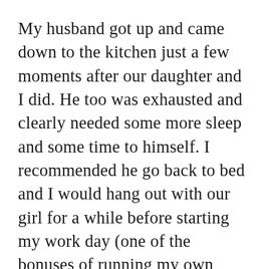My husband got up and came down to the kitchen just a few moments after our daughter and I did. He too was exhausted and clearly needed some more sleep and some time to himself. I recommended he go back to bed and I would hang out with our girl for a while before starting my work day (one of the bonuses of running my own business from home: I can come in late whenever I want). He declined and recommended that I go back to bed before starting my work day.